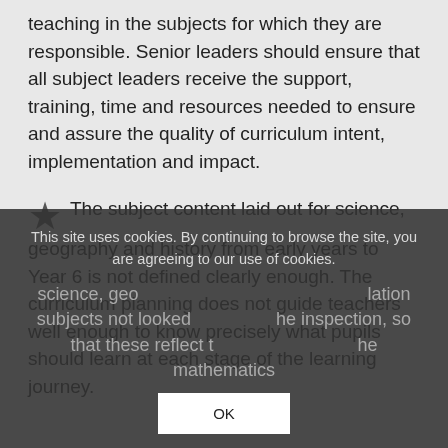teaching in the subjects for which they are responsible. Senior leaders should ensure that all subject leaders receive the support, training, time and resources needed to ensure and assure the quality of curriculum intent, implementation and impact.
The subject content laid out for science, geography and history from early years to Year 6 is not defined clearly enough. The curriculum planning does not guide teachers well enough to know precisely what pupils should learn at each stage of the learning journey.
This site uses cookies. By continuing to browse the site, you are agreeing to our use of cookies.
OK